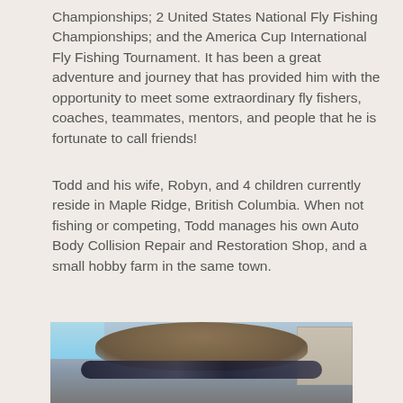Championships; 2 United States National Fly Fishing Championships; and the America Cup International Fly Fishing Tournament. It has been a great adventure and journey that has provided him with the opportunity to meet some extraordinary fly fishers, coaches, teammates, mentors, and people that he is fortunate to call friends!
Todd and his wife, Robyn, and 4 children currently reside in Maple Ridge, British Columbia. When not fishing or competing, Todd manages his own Auto Body Collision Repair and Restoration Shop, and a small hobby farm in the same town.
[Figure (photo): Close-up photo of a person with brown hair wearing dark sunglasses pushed up on their forehead, with a building and sky visible in the background.]